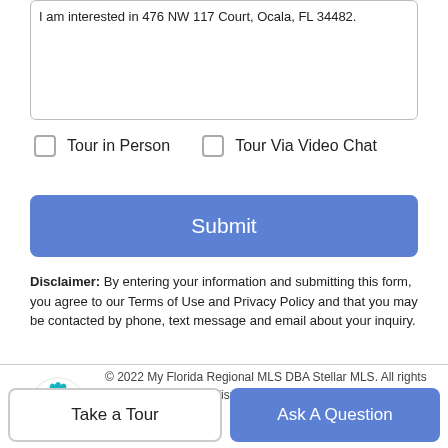I am interested in 476 NW 117 Court, Ocala, FL 34482.
Tour in Person   Tour Via Video Chat
Submit
Disclaimer: By entering your information and submitting this form, you agree to our Terms of Use and Privacy Policy and that you may be contacted by phone, text message and email about your inquiry.
[Figure (logo): My Florida Regional MLS DBA Stellar MLS logo — purple and teal leaf/flower design with faint circular watermark]
© 2022 My Florida Regional MLS DBA Stellar MLS. All rights reserved. All listings displayed pursuant to
Take a Tour
Ask A Question